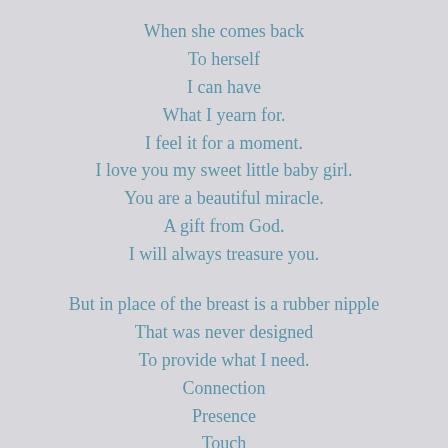When she comes back
To herself
I can have
What I yearn for.
I feel it for a moment.
I love you my sweet little baby girl.
You are a beautiful miracle.
A gift from God.
I will always treasure you.

But in place of the breast is a rubber nipple
That was never designed
To provide what I need.
Connection
Presence
Touch